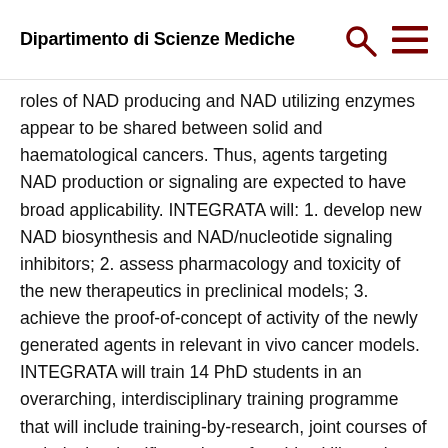Dipartimento di Scienze Mediche
roles of NAD producing and NAD utilizing enzymes appear to be shared between solid and haematological cancers. Thus, agents targeting NAD production or signaling are expected to have broad applicability. INTEGRATA will: 1. develop new NAD biosynthesis and NAD/nucleotide signaling inhibitors; 2. assess pharmacology and toxicity of the new therapeutics in preclinical models; 3. achieve the proof-of-concept of activity of the newly generated agents in relevant in vivo cancer models. INTEGRATA will train 14 PhD students in an overarching, interdisciplinary training programme that will include training-by-research, joint courses of technical, scientific, and transferrable skills, active participation to public scientific events, and an intense intersectoral networking exchange plan. The INTEGRATA Consortium